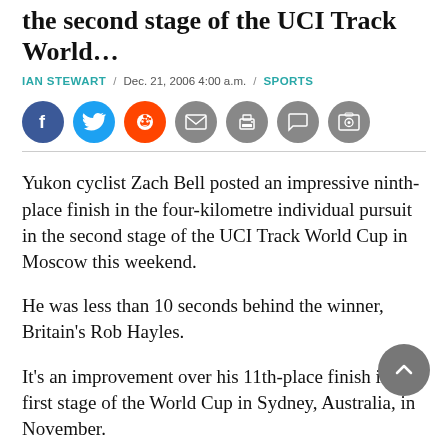the second stage of the UCI Track World…
IAN STEWART / Dec. 21, 2006 4:00 a.m. / SPORTS
[Figure (other): Social sharing icons: Facebook, Twitter, Reddit, Email, Print, Comment, Photo]
Yukon cyclist Zach Bell posted an impressive ninth-place finish in the four-kilometre individual pursuit in the second stage of the UCI Track World Cup in Moscow this weekend.
He was less than 10 seconds behind the winner, Britain's Rob Hayles.
It's an improvement over his 11th-place finish in the first stage of the World Cup in Sydney, Australia, in November.
Bell also finished ninth in the 20-kilometre points race… a